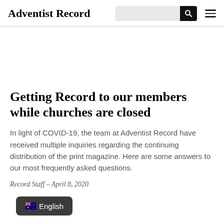Adventist Record
Getting Record to our members while churches are closed
In light of COVID-19, the team at Adventist Record have received multiple inquiries regarding the continuing distribution of the print magazine. Here are some answers to our most frequently asked questions.
Record Staff – April 8, 2020
[Figure (other): Language selector pill showing Australian flag emoji and 'English' text on dark background]